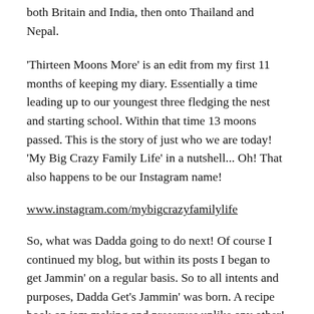both Britain and India, then onto Thailand and Nepal.
'Thirteen Moons More' is an edit from my first 11 months of keeping my diary. Essentially a time leading up to our youngest three fledging the nest and starting school. Within that time 13 moons passed. This is the story of just who we are today! 'My Big Crazy Family Life' in a nutshell... Oh! That also happens to be our Instagram name!
www.instagram.com/mybigcrazyfamilylife
So, what was Dadda going to do next! Of course I continued my blog, but within its posts I began to get Jammin' on a regular basis. So to all intents and purposes, Dadda Get's Jammin' was born. A recipe book on jam making and preserves unlike any other! When is a recipe book not quite a recipe